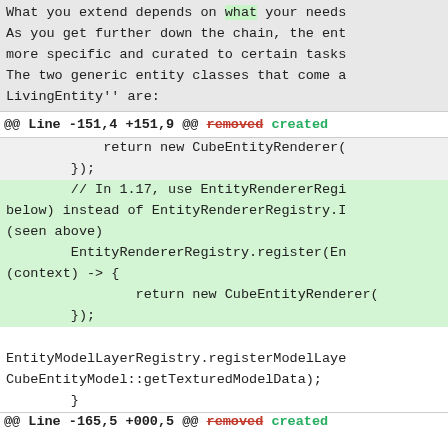What you extend depends on what your needs
As you get further down the chain, the ent
more specific and curated to certain tasks
The two generic entity classes that come a
LivingEntity'' are:
@@ Line -151,4 +151,9 @@ removed created
return new CubeEntityRenderer(
        });
// In 1.17, use EntityRendererRegi
below) instead of EntityRendererRegistry.I
(seen above)
        EntityRendererRegistry.register(En
(context) -> {
                return new CubeEntityRenderer(
        });
EntityModelLayerRegistry.registerModelLaye
CubeEntityModel::getTexturedModelData);
        }
@@ Line -165,5 +000,5 @@ removed created